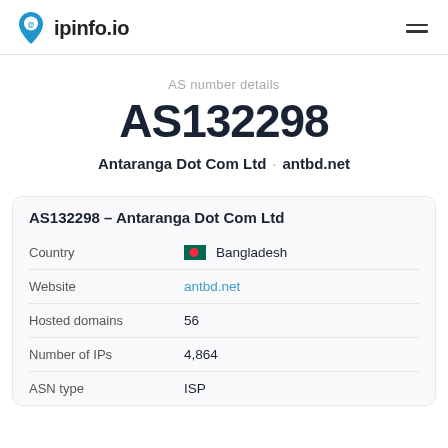ipinfo.io
AS number details
AS132298
Antaranga Dot Com Ltd · antbd.net
| Country | 🇧🇩 Bangladesh |
| Website | antbd.net |
| Hosted domains | 56 |
| Number of IPs | 4,864 |
| ASN type | ISP |